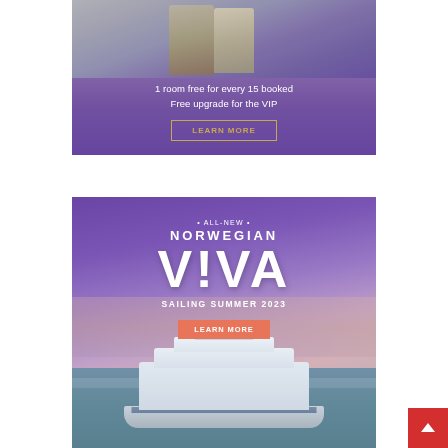[Figure (illustration): Top advertisement banner with purple gradient background showing two business figures. Text reads: '1 room free for every 15 booked / Free upgrade for the VIP' with a gold-bordered LEARN MORE button.]
[Figure (illustration): Norwegian Cruise Line advertisement for Norwegian Viva. Purple/pink sunset sky background with cruise ship at bottom. Text: '• ALL-NEW • NORWEGIAN V!VA SAILING SUMMER 2023' with coral LEARN MORE button.]